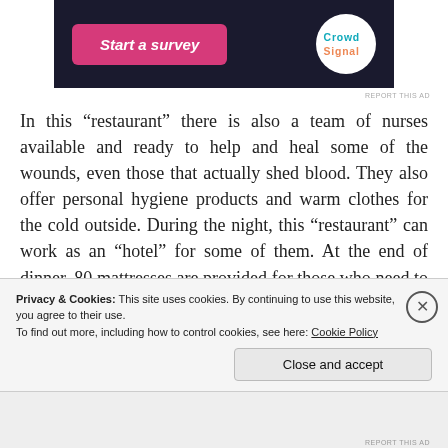[Figure (screenshot): Dark banner advertisement with pink 'Start a survey' button and Crowdsignal circular logo on white background]
In this “restaurant” there is also a team of nurses available and ready to help and heal some of the wounds, even those that actually shed blood. They also offer personal hygiene products and warm clothes for the cold outside. During the night, this “restaurant” can work as an “hotel” for some of them. At the end of dinner, 80 mattresses are provided for those who need to stay overnight, and in the morning, breakfast is
Privacy & Cookies: This site uses cookies. By continuing to use this website, you agree to their use.
To find out more, including how to control cookies, see here: Cookie Policy
Close and accept